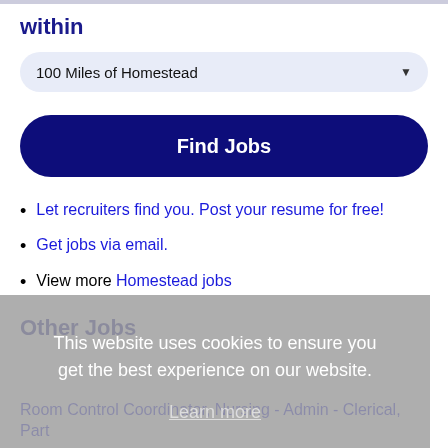within
100 Miles of Homestead
Find Jobs
Let recruiters find you. Post your resume for free!
Get jobs via email.
View more Homestead jobs
This website uses cookies to ensure you get the best experience on our website.
Learn more
Other Jobs
Got it!
Room Control Coordinator, Nursing - Admin - Clerical, Part